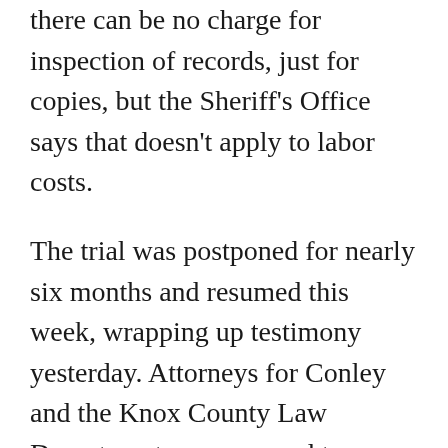there can be no charge for inspection of records, just for copies, but the Sheriff's Office says that doesn't apply to labor costs.
The trial was postponed for nearly six months and resumed this week, wrapping up testimony yesterday. Attorneys for Conley and the Knox County Law Department are supposed to deliver written summaries of their cases to Chancellor John Weaver by Jan. 13, 2020, and then convene for a